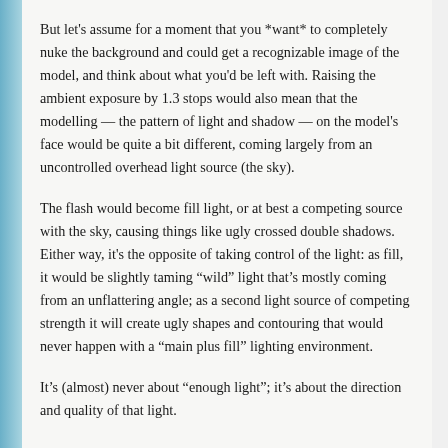But let's assume for a moment that you *want* to completely nuke the background and could get a recognizable image of the model, and think about what you'd be left with. Raising the ambient exposure by 1.3 stops would also mean that the modelling — the pattern of light and shadow — on the model's face would be quite a bit different, coming largely from an uncontrolled overhead light source (the sky).
The flash would become fill light, or at best a competing source with the sky, causing things like ugly crossed double shadows. Either way, it's the opposite of taking control of the light: as fill, it would be slightly taming "wild" light that's mostly coming from an unflattering angle; as a second light source of competing strength it will create ugly shapes and contouring that would never happen with a "main plus fill" lighting environment.
It's (almost) never about "enough light"; it's about the direction and quality of that light.